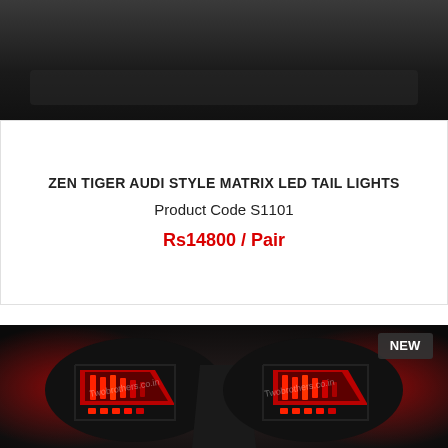[Figure (photo): Dark background top strip image, partial view of tail lights product]
ZEN TIGER AUDI STYLE MATRIX LED TAIL LIGHTS
Product Code S1101
Rs14800 / Pair
[Figure (photo): Two Zen Tiger Audi Style Matrix LED tail lights displayed side by side on a dark background, showing red LED patterns. Watermark reads 'Twobrothers.co.in'. NEW badge visible in top right corner.]